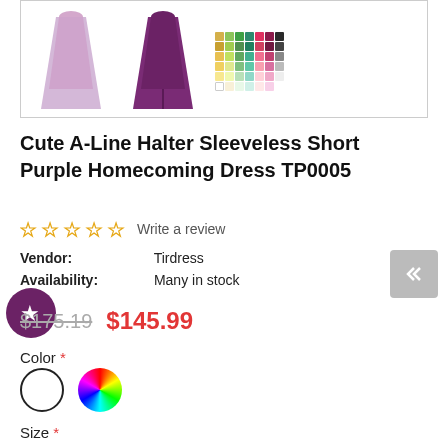[Figure (photo): Product images showing a light purple A-line dress, a dark purple A-line dress, and a color swatch grid]
Cute A-Line Halter Sleeveless Short Purple Homecoming Dress TP0005
☆ ☆ ☆ ☆ ☆  Write a review
Vendor: Tirdress
Availability: Many in stock
$175.19  $145.99
Color *
Size *